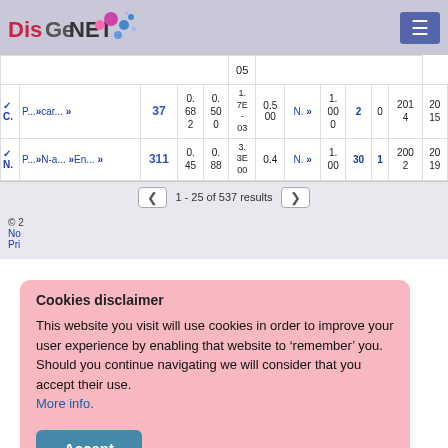DisGeNET [logo with dots]
|  |  |  |  | Score | EI | YI | YF |
| --- | --- | --- | --- | --- | --- | --- | --- |
|  | P... car... > | 37 | 0.682 | 0.500 | 1.7E-03 | 0.5000 | N. | 1.000 | 2 | 0 | 2014 | 2015 |
|  | P... N-a... En... >311 |  | 0.45 | 0.88 | 3.3E-00 | 0.4 | N. | 1.00 | 30 | 1 | 200 2 | 20 19 |
1 - 25 of 537 results
Cookies disclaimer
This website you visit will use cookies in order to improve your user experience by enabling that website to 'remember' you. Should you continue navigating we will consider that you accept their use.
More info.
Accept